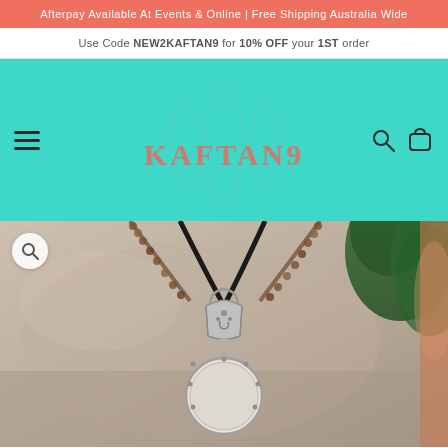Afterpay Available At Events & Online | Free Shipping Australia Wide
Use Code NEW2KAFTAN9 for 10% OFF your 1ST order
[Figure (logo): Kaftan9 logo with crystal/gem illustration and teal background navigation bar with hamburger menu, search and cart icons]
[Figure (photo): Close-up product photo of a decorative silver pendant necklace with ornate scroll design and a circular stone, on a black cord, set against a stone/shell background with green foliage]